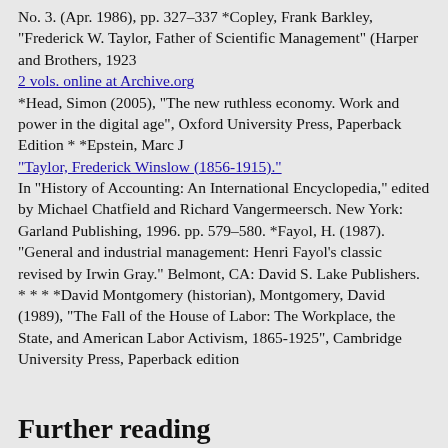No. 3. (Apr. 1986), pp. 327–337 *Copley, Frank Barkley, "Frederick W. Taylor, Father of Scientific Management" (Harper and Brothers, 1923 2 vols. online at Archive.org *Head, Simon (2005), "The new ruthless economy. Work and power in the digital age", Oxford University Press, Paperback Edition * *Epstein, Marc J "Taylor, Frederick Winslow (1856-1915)." In "History of Accounting: An International Encyclopedia," edited by Michael Chatfield and Richard Vangermeersch. New York: Garland Publishing, 1996. pp. 579–580. *Fayol, H. (1987). "General and industrial management: Henri Fayol's classic revised by Irwin Gray." Belmont, CA: David S. Lake Publishers. * * * *David Montgomery (historian), Montgomery, David (1989), "The Fall of the House of Labor: The Workplace, the State, and American Labor Activism, 1865-1925", Cambridge University Press, Paperback edition
Further reading